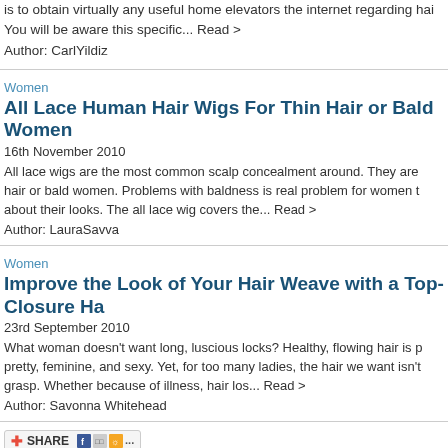is to obtain virtually any useful home elevators the internet regarding hair. You will be aware this specific... Read >
Author: CarlYildiz
Women
All Lace Human Hair Wigs For Thin Hair or Bald Women
16th November 2010
All lace wigs are the most common scalp concealment around. They are hair or bald women. Problems with baldness is real problem for women t about their looks. The all lace wig covers the... Read >
Author: LauraSavva
Women
Improve the Look of Your Hair Weave with a Top-Closure Ha
23rd September 2010
What woman doesn't want long, luscious locks? Healthy, flowing hair is p pretty, feminine, and sexy. Yet, for too many ladies, the hair we want isn't grasp. Whether because of illness, hair los... Read >
Author: Savonna Whitehead
SHARE
1 2 3